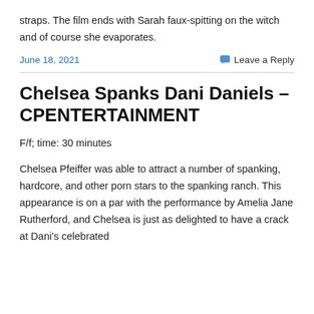straps. The film ends with Sarah faux-spitting on the witch and of course she evaporates.
June 18, 2021   Leave a Reply
Chelsea Spanks Dani Daniels – CPENTERTAINMENT
F/f; time: 30 minutes
Chelsea Pfeiffer was able to attract a number of spanking, hardcore, and other porn stars to the spanking ranch. This appearance is on a par with the performance by Amelia Jane Rutherford, and Chelsea is just as delighted to have a crack at Dani's celebrated